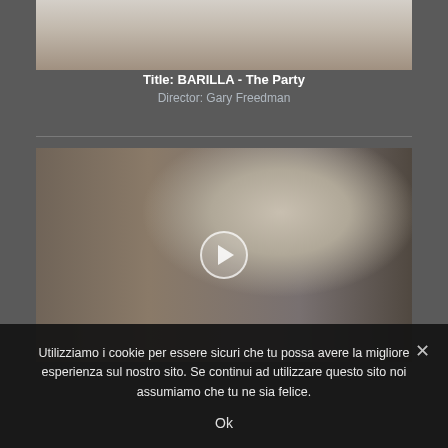[Figure (photo): Partial view of a person in white clothing, cropped at top of page]
Title: BARILLA - The Party
Director: Gary Freedman
[Figure (photo): Man in white suit and fedora hat touching the brim, standing in front of a stone building, with a play button overlay in the center]
Utilizziamo i cookie per essere sicuri che tu possa avere la migliore esperienza sul nostro sito. Se continui ad utilizzare questo sito noi assumiamo che tu ne sia felice.
Ok